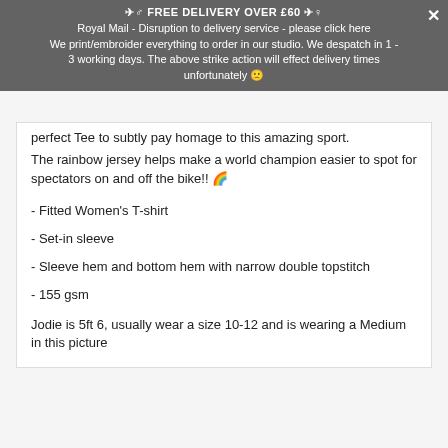🚴‍♂️ FREE DELIVERY OVER £60 🚴‍♀️
Royal Mail - Disruption to delivery service - please click here
We print/embroider everything to order in our studio. We despatch in 1 - 3 working days. The above strike action will effect delivery times unfortunately 🙁
perfect Tee to subtly pay homage to this amazing sport.
The rainbow jersey helps make a world champion easier to spot for spectators on and off the bike!! 🌈
- Fitted Women's T-shirt
- Set-in sleeve
- Sleeve hem and bottom hem with narrow double topstitch
- 155 gsm
Jodie is 5ft 6, usually wear a size 10-12 and is wearing a Medium in this picture